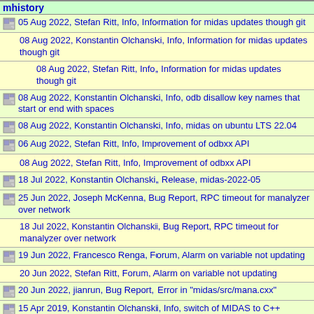mhistory
05 Aug 2022, Stefan Ritt, Info, Information for midas updates though git
08 Aug 2022, Konstantin Olchanski, Info, Information for midas updates though git
08 Aug 2022, Stefan Ritt, Info, Information for midas updates though git
08 Aug 2022, Konstantin Olchanski, Info, odb disallow key names that start or end with spaces
08 Aug 2022, Konstantin Olchanski, Info, midas on ubuntu LTS 22.04
06 Aug 2022, Stefan Ritt, Info, Improvement of odbxx API
08 Aug 2022, Stefan Ritt, Info, Improvement of odbxx API
18 Jul 2022, Konstantin Olchanski, Release, midas-2022-05
25 Jun 2022, Joseph McKenna, Bug Report, RPC timeout for manalyzer over network
18 Jul 2022, Konstantin Olchanski, Bug Report, RPC timeout for manalyzer over network
19 Jun 2022, Francesco Renga, Forum, Alarm on variable not updating
20 Jun 2022, Stefan Ritt, Forum, Alarm on variable not updating
20 Jun 2022, jianrun, Bug Report, Error in "midas/src/mana.cxx"
15 Apr 2019, Konstantin Olchanski, Info, switch of MIDAS to C++
15 Apr 2019, Konstantin Olchanski, Info, switch of MIDAS to C++, which C++?
15 Apr 2019, Konstantin Olchanski, Info, switch of MIDAS to C++, how much C++?
16 Apr 2019, Pintaudi Giorgio, Info, switch of MIDAS to C++, how much C++?